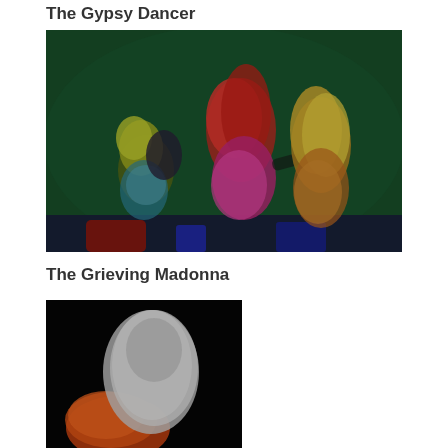The Gypsy Dancer
[Figure (illustration): A blurry digital painting of three colorful female dancer figures against a dark green background. The figures have bright hair colors (yellow-green, red/orange, and golden) and are wearing colorful dresses in blue, magenta/purple, and orange tones.]
The Grieving Madonna
[Figure (illustration): A blurry digital painting against a black background showing two abstract figures - one orange/red form at the bottom and one large white/grey draped figure above, suggesting a grieving Madonna-like composition.]